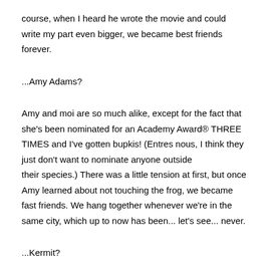course, when I heard he wrote the movie and could write my part even bigger, we became best friends forever.
...Amy Adams?
Amy and moi are so much alike, except for the fact that she's been nominated for an Academy Award® THREE TIMES and I've gotten bupkis! (Entres nous, I think they just don't want to nominate anyone outside their species.) There was a little tension at first, but once Amy learned about not touching the frog, we became fast friends. We hang together whenever we're in the same city, which up to now has been... let's see... never.
...Kermit?
What can I say about Kermie and moi? Separately we're fabulous and